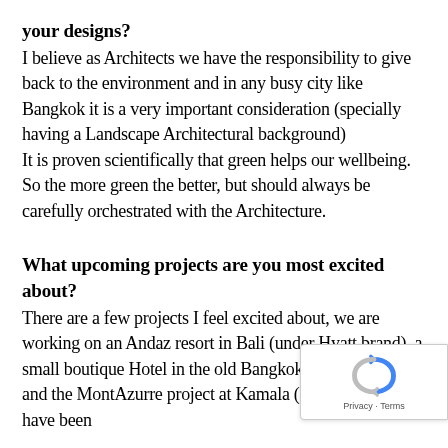your designs?
I believe as Architects we have the responsibility to give back to the environment and in any busy city like Bangkok it is a very important consideration (specially having a Landscape Architectural background)
It is proven scientifically that green helps our wellbeing. So the more green the better, but should always be carefully orchestrated with the Architecture.
What upcoming projects are you most excited about?
There are a few projects I feel excited about, we are working on an Andaz resort in Bali (under Hyatt brand), a small boutique Hotel in the old Bangkok historic district and the MontAzurre project at Kamala (Phuket) which we have been